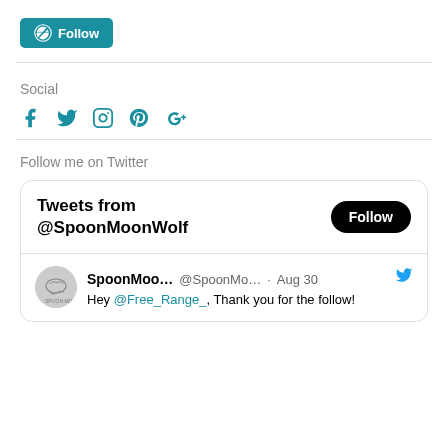[Figure (screenshot): WordPress Follow button with teal background and WordPress logo]
Social
[Figure (infographic): Social media icons: Facebook, Twitter, Instagram, Pinterest, Google+]
Follow me on Twitter
[Figure (screenshot): Twitter widget showing Tweets from @SpoonMoonWolf with a Follow button and a tweet from SpoonMoo... @SpoonMo... Aug 30 saying: Hey @Free_Range_, Thank you for the follow!]